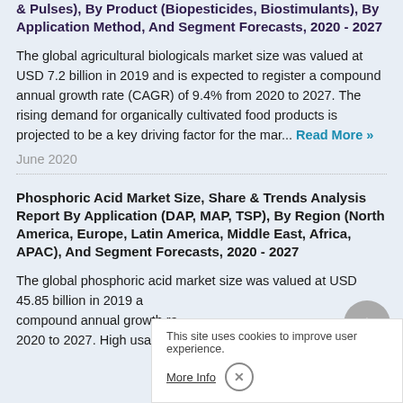& Pulses), By Product (Biopesticides, Biostimulants), By Application Method, And Segment Forecasts, 2020 - 2027
The global agricultural biologicals market size was valued at USD 7.2 billion in 2019 and is expected to register a compound annual growth rate (CAGR) of 9.4% from 2020 to 2027. The rising demand for organically cultivated food products is projected to be a key driving factor for the mar... Read More »
June 2020
Phosphoric Acid Market Size, Share & Trends Analysis Report By Application (DAP, MAP, TSP), By Region (North America, Europe, Latin America, Middle East, Africa, APAC), And Segment Forecasts, 2020 - 2027
The global phosphoric acid market size was valued at USD 45.85 billion in 2019 and is expected to register a compound annual growth rate (CAGR) from 2020 to 2027. High usage of phosphoric acid for the